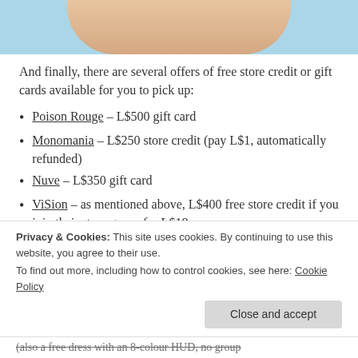[Figure (photo): Cropped photo of a person's neck/chin area against a light blue background]
And finally, there are several offers of free store credit or gift cards available for you to pick up:
Poison Rouge – L$500 gift card
Monomania – L$250 store credit (pay L$1, automatically refunded)
Nuve – L$350 gift card
ViSion – as mentioned above, L$400 free store credit if you join their store group for L$18
Rosary – L$500 gift card
Privacy & Cookies: This site uses cookies. By continuing to use this website, you agree to their use.
To find out more, including how to control cookies, see here: Cookie Policy
(also a free dress with an 8-colour HUD, no group